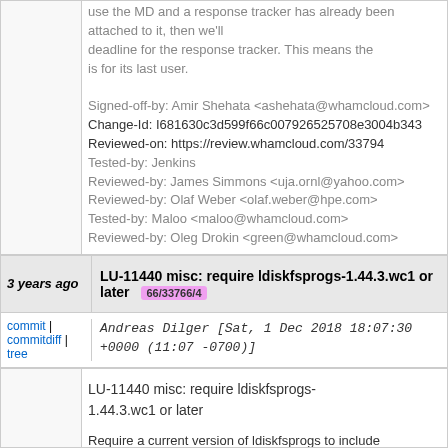use the MD and a response tracker has already been attached to it, then we'll deadline for the response tracker. This means the is for its last user.

Signed-off-by: Amir Shehata <ashehata@whamcloud.com>
Change-Id: I681630c3d599f66c007926525708e3004b3434
Reviewed-on: https://review.whamcloud.com/33794
Tested-by: Jenkins
Reviewed-by: James Simmons <uja.ornl@yahoo.com>
Reviewed-by: Olaf Weber <olaf.weber@hpe.com>
Tested-by: Maloo <maloo@whamcloud.com>
Reviewed-by: Oleg Drokin <green@whamcloud.com>
3 years ago
LU-11440 misc: require ldiskfsprogs-1.44.3.wc1 or later
66/33766/4
commit | commitdiff | tree   Andreas Dilger [Sat, 1 Dec 2018 18:07:30 +0000 (11:07 -0700)]
LU-11440 misc: require ldiskfsprogs-1.44.3.wc1 or later

Require a current version of ldiskfsprogs to include project quotas and large_dir. Upstream now also